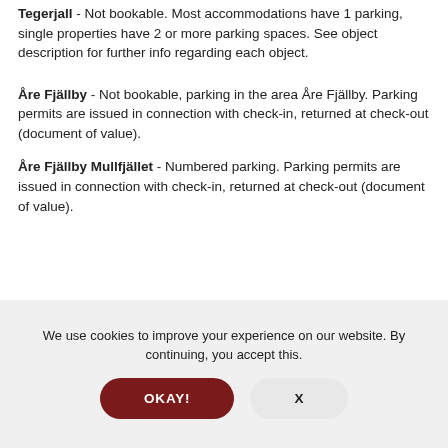Tegeljall - Not bookable. Most accommodations have 1 parking, single properties have 2 or more parking spaces. See object description for further info regarding each object.
Åre Fjällby - Not bookable, parking in the area Åre Fjällby. Parking permits are issued in connection with check-in, returned at check-out (document of value).
Åre Fjällby Mullfjället - Numbered parking. Parking permits are issued in connection with check-in, returned at check-out (document of value).
We use cookies to improve your experience on our website. By continuing, you accept this.